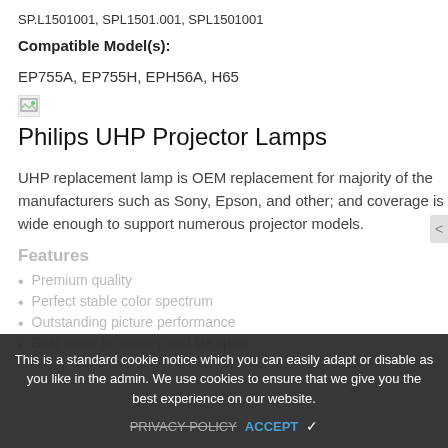SP.L1501001, SPL1501.001, SPL1501001
Compatible Model(s):
EP755A, EP755H, EPH56A, H65
[Figure (photo): Broken image placeholder icon]
Philips UHP Projector Lamps
UHP replacement lamp is OEM replacement for majority of the manufacturers such as Sony, Epson, and other; and coverage is wide enough to support numerous projector models.
Features
Premium quality
Perfect stable color spectrum
Outstanding picture performance
Best value for money and life span
This is a standard cookie notice which you can easily adapt or disable as you like in the admin. We use cookies to ensure that we give you the best experience on our website.